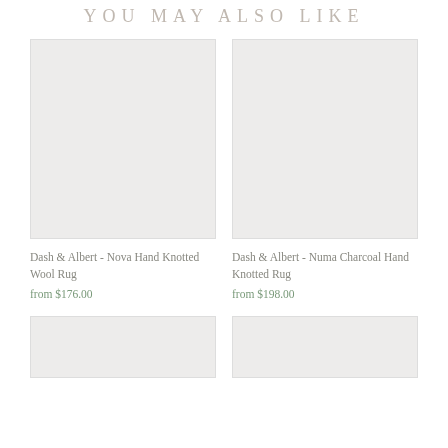YOU MAY ALSO LIKE
[Figure (photo): Product image placeholder for Dash & Albert - Nova Hand Knotted Wool Rug, light gray background]
Dash & Albert - Nova Hand Knotted Wool Rug
from $176.00
[Figure (photo): Product image placeholder for Dash & Albert - Numa Charcoal Hand Knotted Rug, light gray background]
Dash & Albert - Numa Charcoal Hand Knotted Rug
from $198.00
[Figure (photo): Partial product image placeholder at bottom left, light gray background]
[Figure (photo): Partial product image placeholder at bottom right, light gray background]